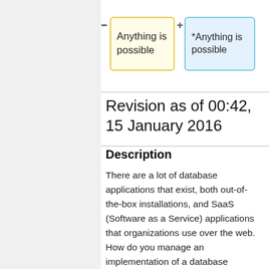[Figure (illustration): Two UI boxes: a yellow box labeled 'Anything is possible' with a minus button, and a blue box labeled '*Anything is possible' with a plus button]
Revision as of 00:42, 15 January 2016
Description
There are a lot of database applications that exist, both out-of-the-box installations, and SaaS (Software as a Service) applications that organizations use over the web. How do you manage an implementation of a database product or service? How do you get get the feedback and input from important stakeholders, work with the vendor, get people trained, and make sure it all happens well before that essential year end report is due? We'll share